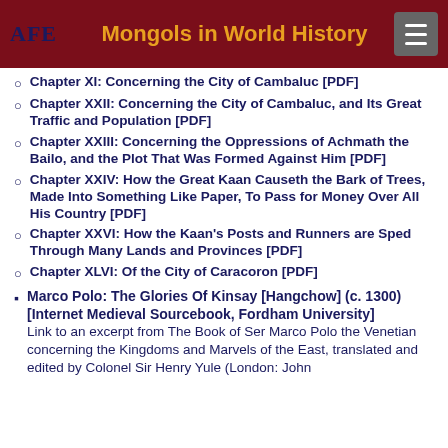AFE  Mongols in World History
Chapter XI: Concerning the City of Cambaluc [PDF]
Chapter XXII: Concerning the City of Cambaluc, and Its Great Traffic and Population [PDF]
Chapter XXIII: Concerning the Oppressions of Achmath the Bailo, and the Plot That Was Formed Against Him [PDF]
Chapter XXIV: How the Great Kaan Causeth the Bark of Trees, Made Into Something Like Paper, To Pass for Money Over All His Country [PDF]
Chapter XXVI: How the Kaan's Posts and Runners are Sped Through Many Lands and Provinces [PDF]
Chapter XLVI: Of the City of Caracoron [PDF]
Marco Polo: The Glories Of Kinsay [Hangchow] (c. 1300) [Internet Medieval Sourcebook, Fordham University] — Link to an excerpt from The Book of Ser Marco Polo the Venetian concerning the Kingdoms and Marvels of the East, translated and edited by Colonel Sir Henry Yule (London: John